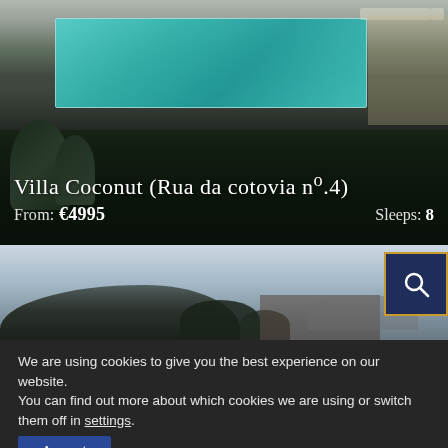[Figure (photo): Aerial/ground view of a villa with an illuminated swimming pool, pool deck with lounge chairs, surrounded by landscaped grounds at dusk/evening]
Villa Coconut (Rua da cotovia nº.4)
From: €4995    Sleeps: 8
[Figure (photo): Exterior view of a villa at dusk with trees silhouetted against a pale sky, a search button overlay in top right corner]
We are using cookies to give you the best experience on our website.
You can find out more about which cookies we are using or switch them off in settings.
Accept